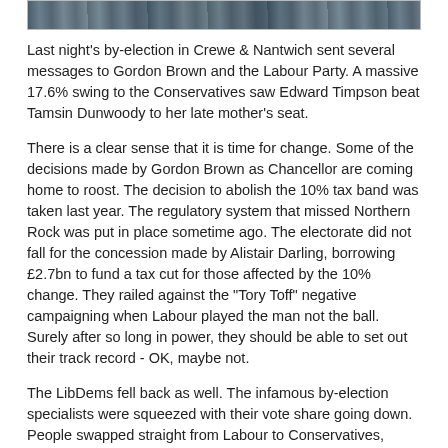[Figure (photo): Partial photo strip at top of page showing a rocky or mountainous landscape in muted blue-grey tones]
Last night's by-election in Crewe & Nantwich sent several messages to Gordon Brown and the Labour Party. A massive 17.6% swing to the Conservatives saw Edward Timpson beat Tamsin Dunwoody to her late mother's seat.
There is a clear sense that it is time for change. Some of the decisions made by Gordon Brown as Chancellor are coming home to roost. The decision to abolish the 10% tax band was taken last year. The regulatory system that missed Northern Rock was put in place sometime ago. The electorate did not fall for the concession made by Alistair Darling, borrowing £2.7bn to fund a tax cut for those affected by the 10% change. They railed against the "Tory Toff" negative campaigning when Labour played the man not the ball. Surely after so long in power, they should be able to set out their track record - OK, maybe not.
The LibDems fell back as well. The infamous by-election specialists were squeezed with their vote share going down. People swapped straight from Labour to Conservatives, showing that the Tories have a fantastic base to build on as